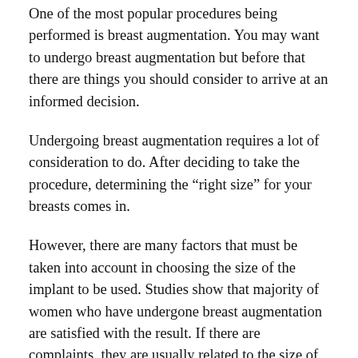One of the most popular procedures being performed is breast augmentation. You may want to undergo breast augmentation but before that there are things you should consider to arrive at an informed decision.
Undergoing breast augmentation requires a lot of consideration to do. After deciding to take the procedure, determining the “right size” for your breasts comes in.
However, there are many factors that must be taken into account in choosing the size of the implant to be used. Studies show that majority of women who have undergone breast augmentation are satisfied with the result. If there are complaints, they are usually related to the size of the implant. As a matter of fact, the most common cause of subsequent surgeries is the desire to modify the implant size.